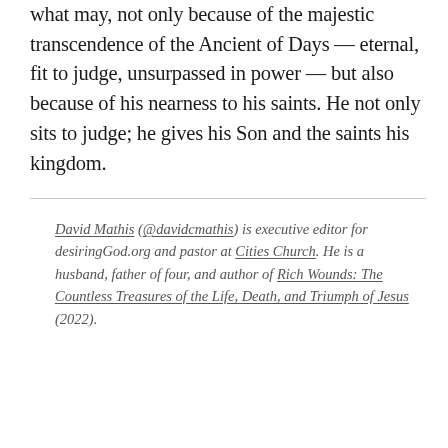what may, not only because of the majestic transcendence of the Ancient of Days — eternal, fit to judge, unsurpassed in power — but also because of his nearness to his saints. He not only sits to judge; he gives his Son and the saints his kingdom.
David Mathis (@davidcmathis) is executive editor for desiringGod.org and pastor at Cities Church. He is a husband, father of four, and author of Rich Wounds: The Countless Treasures of the Life, Death, and Triumph of Jesus (2022).